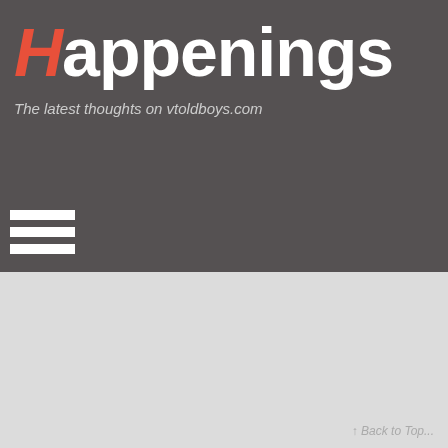Happenings
The latest thoughts on vtoldboys.com
[Figure (other): Hamburger menu icon with three horizontal white lines]
↑ Back to Top...